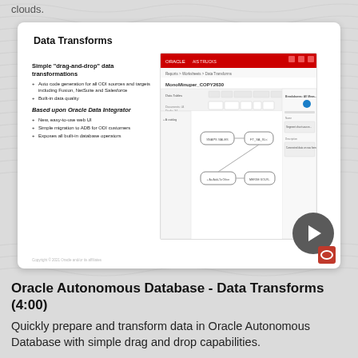clouds.
[Figure (screenshot): Oracle Autonomous Database Data Transforms slide with screenshot of the Data Transforms UI showing drag-and-drop workflow, and a play button overlay]
Oracle Autonomous Database - Data Transforms (4:00)
Quickly prepare and transform data in Oracle Autonomous Database with simple drag and drop capabilities.